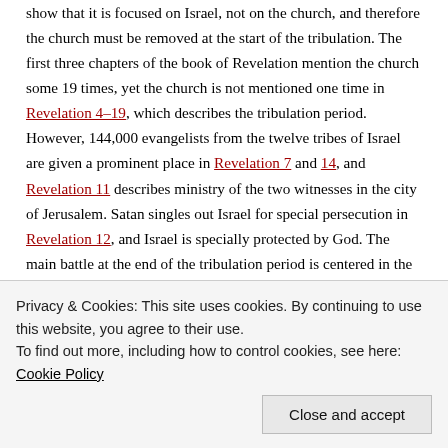show that it is focused on Israel, not on the church, and therefore the church must be removed at the start of the tribulation. The first three chapters of the book of Revelation mention the church some 19 times, yet the church is not mentioned one time in Revelation 4–19, which describes the tribulation period. However, 144,000 evangelists from the twelve tribes of Israel are given a prominent place in Revelation 7 and 14, and Revelation 11 describes ministry of the two witnesses in the city of Jerusalem. Satan singles out Israel for special persecution in Revelation 12, and Israel is specially protected by God. The main battle at the end of the tribulation period is centered in the land of Israel (Rev 16:16). Zechariah 12–14 speaks of
Privacy & Cookies: This site uses cookies. By continuing to use this website, you agree to their use.
To find out more, including how to control cookies, see here: Cookie Policy
Close and accept